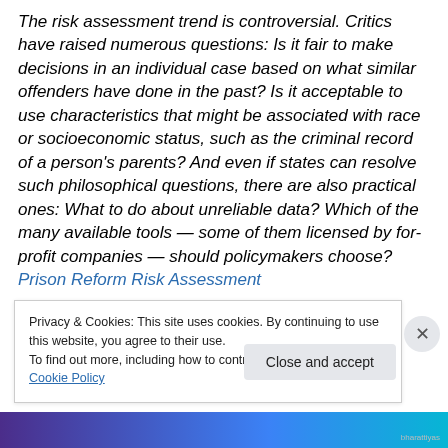The risk assessment trend is controversial. Critics have raised numerous questions: Is it fair to make decisions in an individual case based on what similar offenders have done in the past? Is it acceptable to use characteristics that might be associated with race or socioeconomic status, such as the criminal record of a person's parents? And even if states can resolve such philosophical questions, there are also practical ones: What to do about unreliable data? Which of the many available tools — some of them licensed by for-profit companies — should policymakers choose?  Prison Reform Risk Assessment
Privacy & Cookies: This site uses cookies. By continuing to use this website, you agree to their use. To find out more, including how to control cookies, see here: Cookie Policy